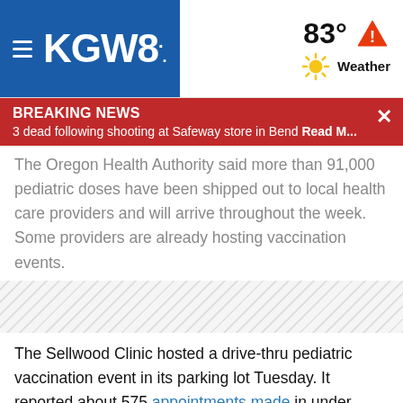KGW8 | 83° Weather
BREAKING NEWS — 3 dead following shooting at Safeway store in Bend Read M...
The Oregon Health Authority said more than 91,000 pediatric doses have been shipped out to local health care providers and will arrive throughout the week. Some providers are already hosting vaccination events.
The Sellwood Clinic hosted a drive-thru pediatric vaccination event in its parking lot Tuesday. It reported about 575 appointments made in under three hours, with plans to host another clinic at 10 a.m. Wednesday.
Legacy Health said it's ready to begin vaccinations Wednesday, starting with its most vulnerable pediatric